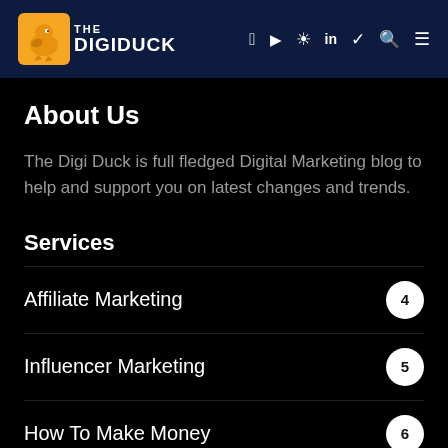The Digi Duck
About Us
The Digi Duck is full fledged Digital Marketing blog to help and support you on latest changes and trends.
Services
Affiliate Marketing 4
Influencer Marketing 5
How To Make Money 6